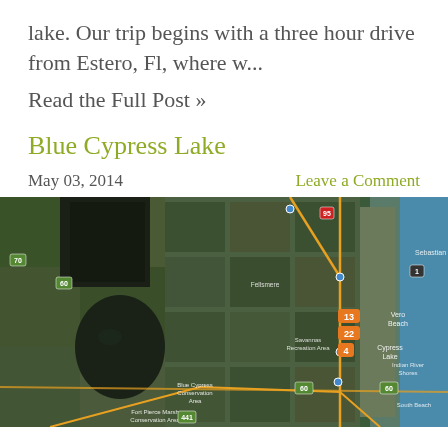lake. Our trip begins with a three hour drive from Estero, Fl, where w...
Read the Full Post »
Blue Cypress Lake
May 03, 2014
Leave a Comment
[Figure (map): Satellite/aerial map of Blue Cypress Lake area in Florida, showing the dark lake body on the left, agricultural fields, and the Atlantic coast on the right. Yellow route lines visible. Orange numbered markers (13, 22, 4) near the lake. Labels include Blue Cypress Conservation Area, Fort Pierce Marsh Conservation Area, Savannas Preserve State Park, Indian River Shores.]